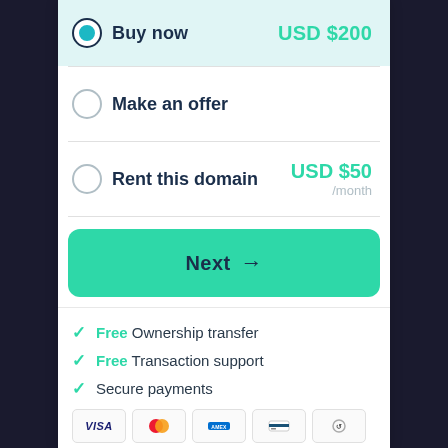Buy now — USD $200
Make an offer
Rent this domain — USD $50 /month
Next →
Free Ownership transfer
Free Transaction support
Secure payments